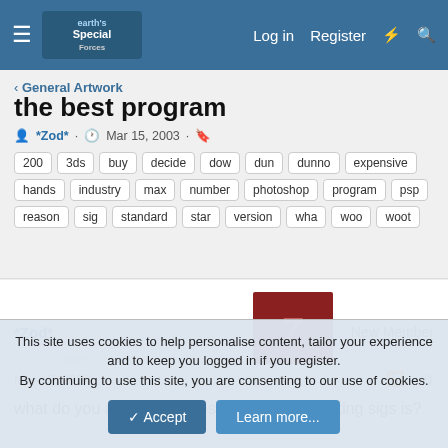Earth's Special Forces forum — Log in  Register
< General Artwork
the best program
*Zod* · Mar 15, 2003
200
3ds
buy
decide
dow
dun
dunno
expensive
hands
industry
max
number
photoshop
program
psp
reason
sig
standard
star
version
wha
woo
woot
*Zod*  New Member
Mar 15, 2003   #1
what do you all think the best program for making sigs is?
This site uses cookies to help personalise content, tailor your experience and to keep you logged in if you register.
By continuing to use this site, you are consenting to our use of cookies.
Accept  Learn more...